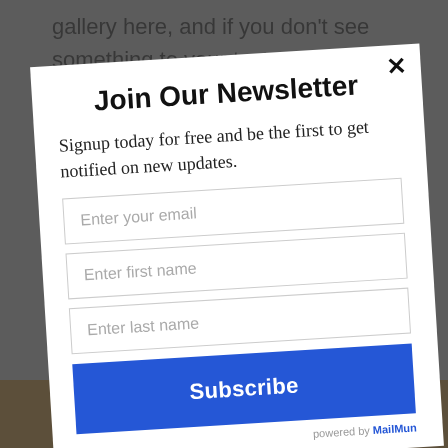gallery here, and if you don't see something to your taste feel free to contact us to bas...
[Figure (screenshot): Newsletter signup modal dialog on a website. Contains title 'Join Our Newsletter', body text, three input fields for email/first name/last name, a Subscribe button, and a 'powered by MailMunch' footer. Modal appears rotated slightly counterclockwise over a darkened webpage background.]
Join Our Newsletter
Signup today for free and be the first to get notified on new updates.
Enter your email
Enter first name
Enter last name
Subscribe
powered by MailMunch